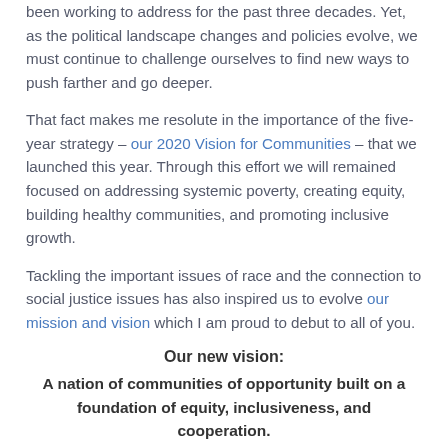been working to address for the past three decades. Yet, as the political landscape changes and policies evolve, we must continue to challenge ourselves to find new ways to push farther and go deeper.
That fact makes me resolute in the importance of the five-year strategy – our 2020 Vision for Communities – that we launched this year. Through this effort we will remained focused on addressing systemic poverty, creating equity, building healthy communities, and promoting inclusive growth.
Tackling the important issues of race and the connection to social justice issues has also inspired us to evolve our mission and vision which I am proud to debut to all of you.
Our new vision:
A nation of communities of opportunity built on a foundation of equity, inclusiveness, and cooperation.
Our new mission: